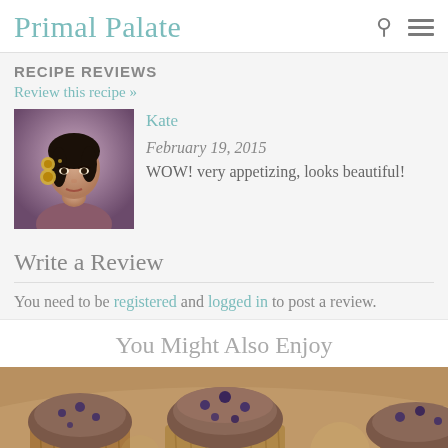Primal Palate
RECIPE REVIEWS
Review this recipe »
[Figure (photo): Profile photo of reviewer Kate, a woman wearing gold jewelry]
Kate
February 19, 2015
WOW! very appetizing, looks beautiful!
Write a Review
You need to be registered and logged in to post a review.
You Might Also Enjoy
[Figure (photo): Photo of chocolate muffins/cupcakes]